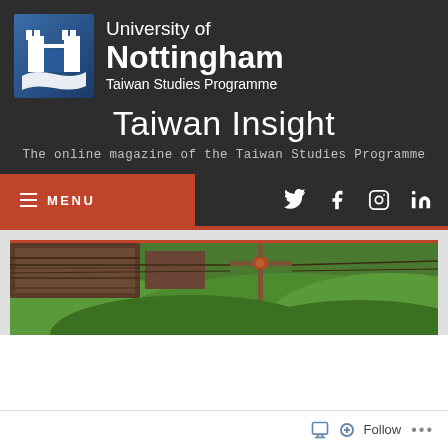[Figure (logo): University of Nottingham crest/logo on blue gradient background]
University of Nottingham Taiwan Studies Programme
Taiwan Insight
The online magazine of the Taiwan Studies Programme
[Figure (infographic): Navigation bar with orange MENU button and social media icons (Twitter, Facebook, Instagram, LinkedIn)]
[Figure (photo): Outdoor aerial/landscape photo showing rooftops, green vegetation, and utility pole wires in the foreground]
Follow ...